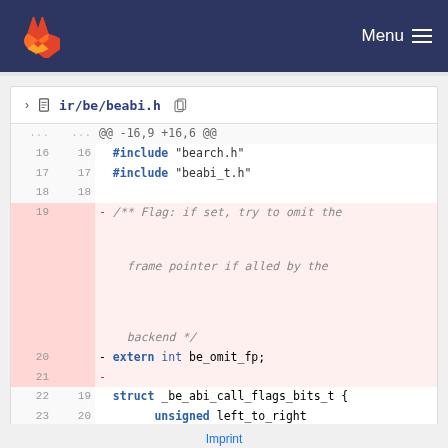ir/be/beabi.h  Menu
[Figure (screenshot): GitLab diff view of ir/be/beabi.h showing lines 16-24 with deleted lines 19-21 (Flag: if set, try to omit the frame pointer if alled by the backend, extern int be_omit_fp;, and a blank deleted line) highlighted in red, and context lines showing #include directives and struct _be_abi_call_flags_bits_t definition.]
Imprint